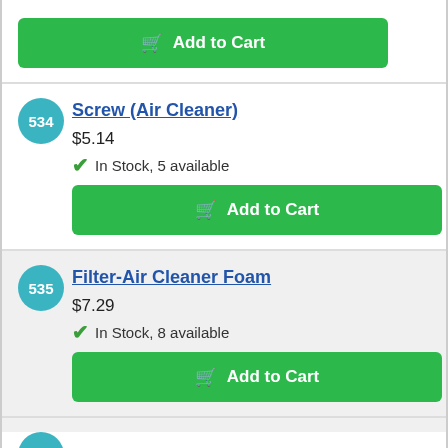Add to Cart
534
Screw (Air Cleaner)
$5.14
In Stock, 5 available
Add to Cart
535
Filter-Air Cleaner Foam
$7.29
In Stock, 8 available
Add to Cart